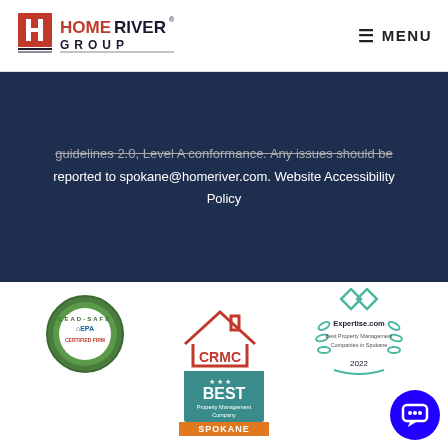[Figure (logo): HomeRiver Group logo with red H icon and text]
≡ MENU
guidelines 2.0, Level A conformance. Any issues should be reported to spokane@homeriver.com. Website Accessibility Policy
[Figure (logo): EPA Lead-Safe Certified Firm circular green badge]
[Figure (logo): CRMC logo - red house outline with CRMC text]
[Figure (logo): Expertise.com Best Property Management Company in Spokane 2022 teal laurel badge]
[Figure (logo): Best Property Management Company Spokane teal and orange badge]